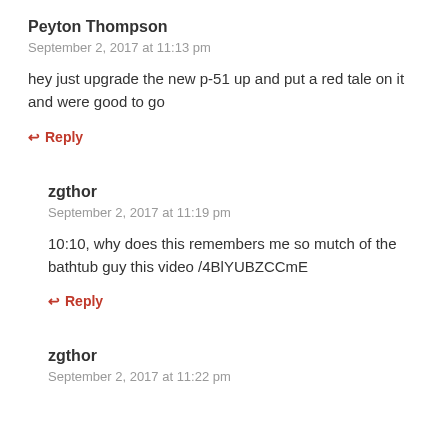Peyton Thompson
September 2, 2017 at 11:13 pm
hey just upgrade the new p-51 up and put a red tale on it and were good to go
↩ Reply
zgthor
September 2, 2017 at 11:19 pm
10:10, why does this remembers me so mutch of the bathtub guy this video /4BlYUBZCCmE
↩ Reply
zgthor
September 2, 2017 at 11:22 pm